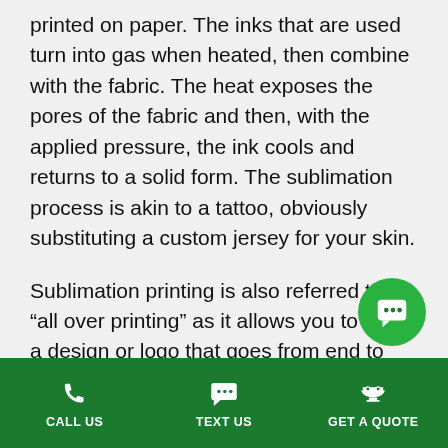printed on paper. The inks that are used turn into gas when heated, then combine with the fabric. The heat exposes the pores of the fabric and then, with the applied pressure, the ink cools and returns to a solid form. The sublimation process is akin to a tattoo, obviously substituting a custom jersey for your skin.
Sublimation printing is also referred to as “all over printing” as it allows you to utilize a design or logo that goes from end to end, making it perfect for custom jerseys in St. Petersburg, FL. The results are permanent and less prone to fading, as the ink is fixed in the fabric, as opposed to simply laying on top like a normal scre…t. Sublimation creates designs that are durable and… and set to work as hard as you do when you’re on the
[Figure (other): Green circle chat/messenger icon button]
CALL US   TEXT US   GET A QUOTE